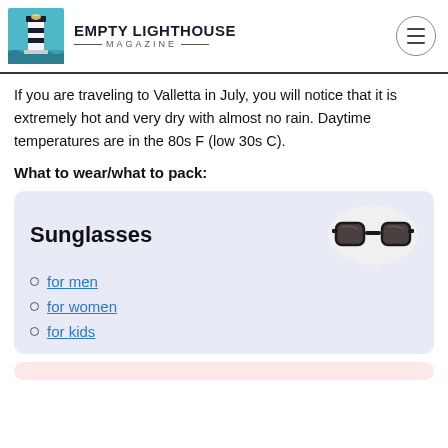EMPTY LIGHTHOUSE MAGAZINE
If you are traveling to Valletta in July, you will notice that it is extremely hot and very dry with almost no rain. Daytime temperatures are in the 80s F (low 30s C).
What to wear/what to pack:
[Figure (other): Product card with blue background showing Sunglasses title and an image of black sunglasses in an oval, with links: for men, for women, for kids]
[Figure (other): Partially visible peach/pink card at the bottom of the page]